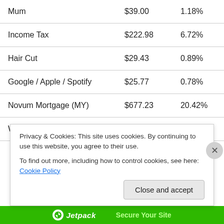| Category | Amount | Percentage |
| --- | --- | --- |
| Mum | $39.00 | 1.18% |
| Income Tax | $222.98 | 6.72% |
| Hair Cut | $29.43 | 0.89% |
| Google / Apple / Spotify | $25.77 | 0.78% |
| Novum Mortgage (MY) | $677.23 | 20.42% |
| World Vision | $22.02 | 0.60% |
Privacy & Cookies: This site uses cookies. By continuing to use this website, you agree to their use.
To find out more, including how to control cookies, see here: Cookie Policy
[Figure (logo): Jetpack logo and 'Secure Your Site' banner at bottom]